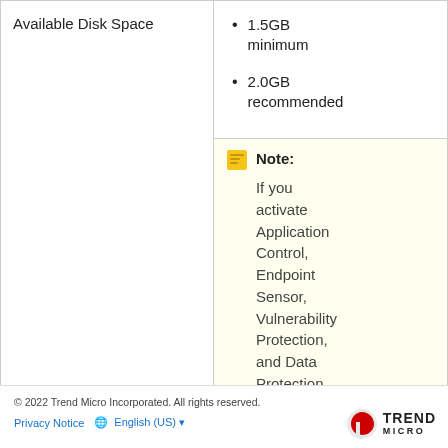|  |  |
| --- | --- |
| Available Disk Space | • 1.5GB minimum
• 2.0GB recommended
Note: If you activate Application Control, Endpoint Sensor, Vulnerability Protection, and Data Protection on the Secu... Agent... Micro |
© 2022 Trend Micro Incorporated. All rights reserved.
Privacy Notice   English (US)